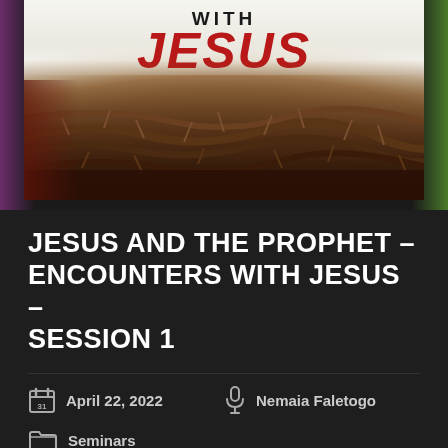[Figure (photo): Crown of thorns close-up with book cover text 'WITH JESUS' in black and red script lettering on white background above the crown]
JESUS AND THE PROPHET – ENCOUNTERS WITH JESUS – SESSION 1
April 22, 2022
Nemaia Faletogo
Seminars